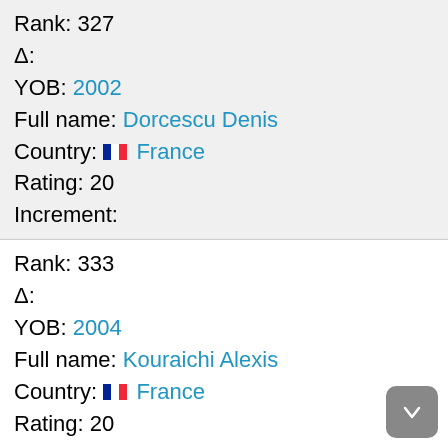Rank: 327
Δ:
YOB: 2002
Full name: Dorcescu Denis
Country: France
Rating: 20
Increment:
Rank: 333
Δ:
YOB: 2004
Full name: Kouraichi Alexis
Country: France
Rating: 20
Increment:
Rank: 408
Δ:
YOB: 2005
Full name: Coton Adrien
Country: France
Rating: 12
Increment: